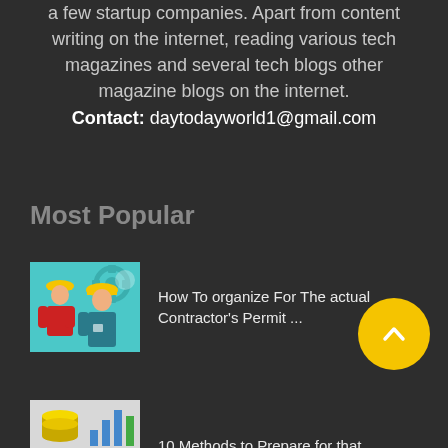a few startup companies. Apart from content writing on the internet, reading various tech magazines and several tech blogs other magazine blogs on the internet.
Contact: daytodayworld1@gmail.com
Most Popular
[Figure (illustration): Two construction workers with hard hats and gear icons in the background]
How To organize For The actual Contractor's Permit ...
[Figure (illustration): Financial/business related illustration]
10 Methods to Prepare for that